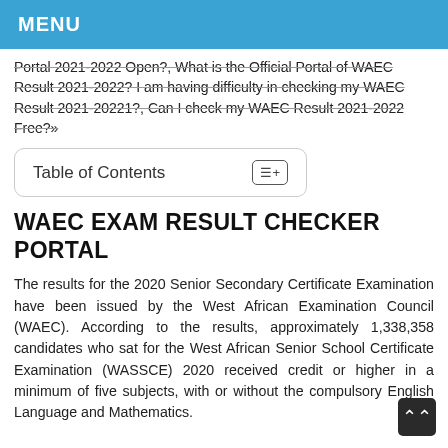MENU
Portal 2021-2022 Open?, What is the Official Portal of WAEC Result 2021-2022? I am having difficulty in checking my WAEC Result 2021-20221?, Can I check my WAEC Result 2021-2022 Free?»
Table of Contents
WAEC EXAM RESULT CHECKER PORTAL
The results for the 2020 Senior Secondary Certificate Examination have been issued by the West African Examination Council (WAEC). According to the results, approximately 1,338,358 candidates who sat for the West African Senior School Certificate Examination (WASSCE) 2020 received credit or higher in a minimum of five subjects, with or without the compulsory English Language and Mathematics.